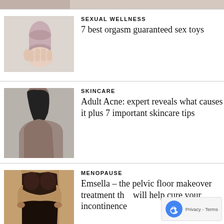[Figure (photo): Top strip showing partial image — cropped at top of page]
[Figure (photo): Hand holding a pink/mauve silicone sexual wellness device against light gray background]
SEXUAL WELLNESS
7 best orgasm guaranteed sex toys
[Figure (photo): Woman with dark hair shown from behind/side profile, bare back, gray background, skincare article image]
SKINCARE
Adult Acne: expert reveals what causes it plus 7 important skincare tips
[Figure (photo): Woman in dark brown/black lingerie set against a beige/tan background, menopause article image]
MENOPAUSE
Emsella – the pelvic floor makeover treatment that will help cure your incontinence